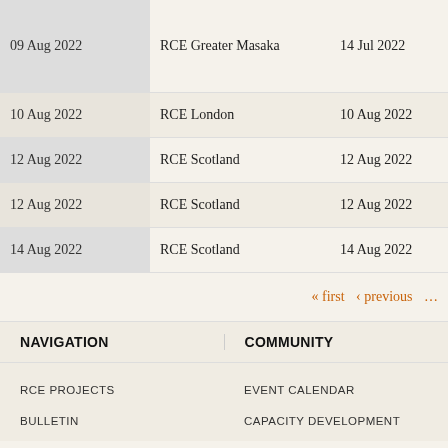| Date | RCE | Date | Region |
| --- | --- | --- | --- |
| 09 Aug 2022 | RCE Greater Masaka | 14 Jul 2022 | Africa and Middle East |
| 10 Aug 2022 | RCE London | 10 Aug 2022 | Global |
| 12 Aug 2022 | RCE Scotland | 12 Aug 2022 | Europe |
| 12 Aug 2022 | RCE Scotland | 12 Aug 2022 | Europe |
| 14 Aug 2022 | RCE Scotland | 14 Aug 2022 | Europe |
« first  ‹ previous  ...
NAVIGATION
COMMUNITY
RCE PROJECTS
EVENT CALENDAR
BULLETIN
CAPACITY DEVELOPMENT